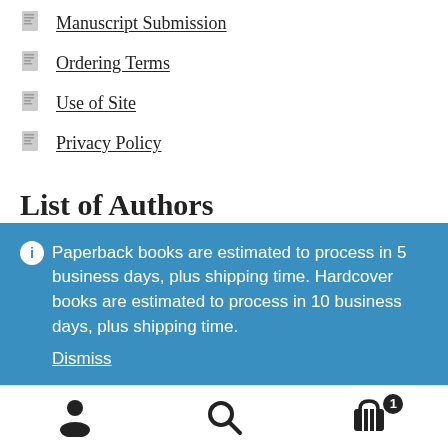Manuscript Submission
Ordering Terms
Use of Site
Privacy Policy
List of Authors
Paperback books are estimated to process in 5 business days, plus shipping time. Hardcover books are estimated to process in 10 business days, plus shipping time. Dismiss